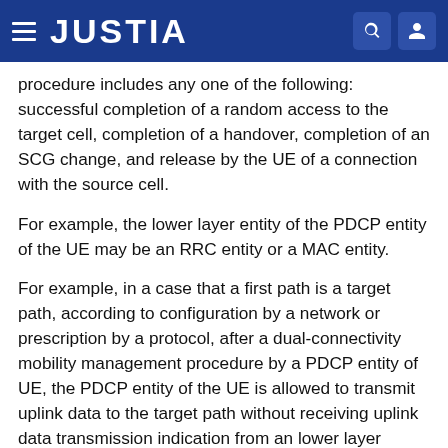JUSTIA
procedure includes any one of the following: successful completion of a random access to the target cell, completion of a handover, completion of an SCG change, and release by the UE of a connection with the source cell.
For example, the lower layer entity of the PDCP entity of the UE may be an RRC entity or a MAC entity.
For example, in a case that a first path is a target path, according to configuration by a network or prescription by a protocol, after a dual-connectivity mobility management procedure by a PDCP entity of UE, the PDCP entity of the UE is allowed to transmit uplink data to the target path without receiving uplink data transmission indication from an lower layer entity.
In this embodiment of this disclosure, after the dual-